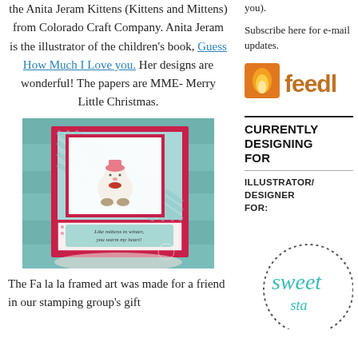the Anita Jeram Kittens (Kittens and Mittens) from Colorado Craft Company. Anita Jeram is the illustrator of the children's book, Guess How Much I Love you. Her designs are wonderful! The papers are MME- Merry Little Christmas.
you).
Subscribe here for e-mail updates.
[Figure (logo): Feedburner orange/tan logo showing 'feedl' text with flame icon]
CURRENTLY DESIGNING FOR
ILLUSTRATOR/ARTIST DESIGNER FOR:
[Figure (photo): Handmade greeting card with a cute kitten stamp wearing a pink hat and red bow, on red and teal patterned paper with sentiment 'Like mittens in winter, you warm my heart!']
The Fa la la framed art was made for a friend in our stamping group's gift
[Figure (logo): Sweet Stamp Shop logo in teal cursive script inside dotted circle border]